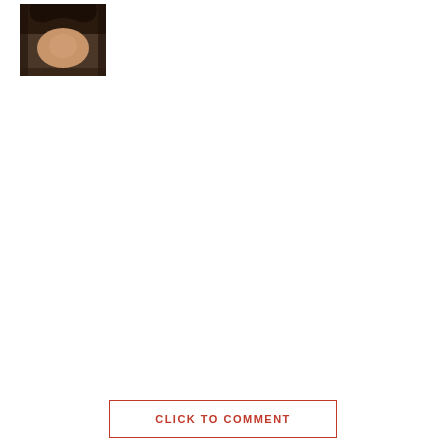[Figure (photo): A small thumbnail photograph of a person, cropped at the top of the page, showing a dark-haired individual.]
CLICK TO COMMENT